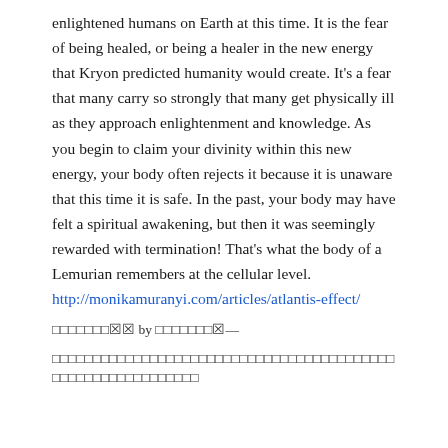enlightened humans on Earth at this time. It is the fear of being healed, or being a healer in the new energy that Kryon predicted humanity would create. It's a fear that many carry so strongly that many get physically ill as they approach enlightenment and knowledge. As you begin to claim your divinity within this new energy, your body often rejects it because it is unaware that this time it is safe. In the past, your body may have felt a spiritual awakening, but then it was seemingly rewarded with termination! That's what the body of a Lemurian remembers at the cellular level. http://monikamuranyi.com/articles/atlantis-effect/
□□□□□□□□□□ by □□□□□□□□□—
□□□□□□□□□□□□□□□□□□□□□□□□□□□□□□□□□□□□□□□□□□□□□□□□□□□□□□□□□□□